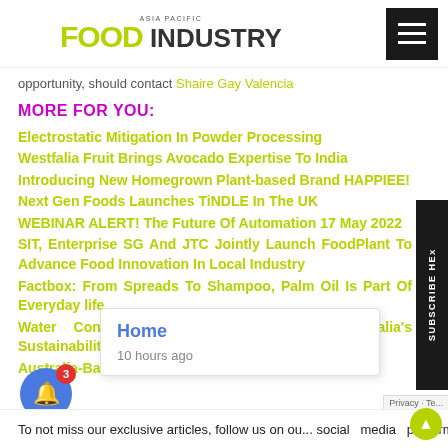ASIA PACIFIC FOOD INDUSTRY
opportunity, should contact Shaire Gay Valencia
MORE FOR YOU:
Electrostatic Mitigation In Powder Processing
Westfalia Fruit Brings Avocado Expertise To India
Introducing New Homegrown Plant-based Brand HAPPIEE!
Next Gen Foods Launches TiNDLE In The UK
WEBINAR ALERT! The Future Of Automation 17 May 2022
SIT, Enterprise SG And JTC Jointly Launch FoodPlant To Advance Food Innovation In Local Industry
Factbox: From Spreads To Shampoo, Palm Oil Is Part Of Everyday life
Water Conservation At The Heart Of Westfalia's Sustainability St...
Australia-Based... dients To...
Home
10 hours ago
To not miss our exclusive articles, follow us on our social media platforms LINKEDIN FACEBOOK